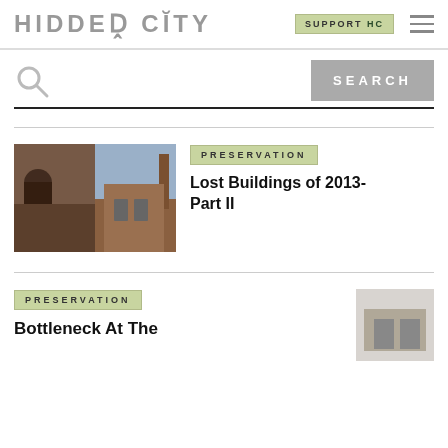HIDDEN CITY
SUPPORT HC
SEARCH
PRESERVATION
Lost Buildings of 2013- Part II
[Figure (photo): Two photos of deteriorating urban brick buildings side by side]
PRESERVATION
Bottleneck At The